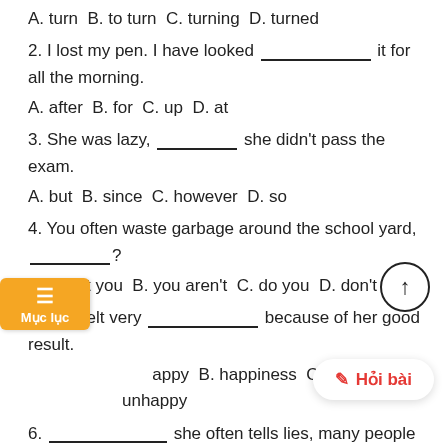A. turn  B. to turn  C. turning  D. turned
2. I lost my pen. I have looked __________ it for all the morning.
A. after  B. for  C. up  D. at
3. She was lazy, _________ she didn't pass the exam.
A. but  B. since  C. however  D. so
4. You often waste garbage around the school yard, _________?
A. aren't you  B. you aren't  C. do you  D. don't you
5. She felt very ___________ because of her good result.
A. happy  B. happiness  C. happily  D. unhappy
6. _____________ she often tells lies, many people believe her.
A. Therefore  B. Because  C. Although  D. However